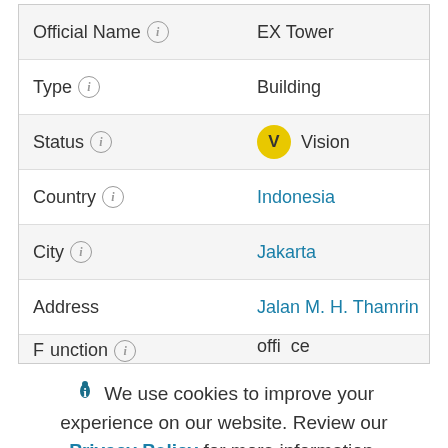| Field | Value |
| --- | --- |
| Official Name | EX Tower |
| Type | Building |
| Status | V Vision |
| Country | Indonesia |
| City | Jakarta |
| Address | Jalan M. H. Thamrin |
| Function | office |
We use cookies to improve your experience on our website. Review our Privacy Policy for more information.
Allow cookies